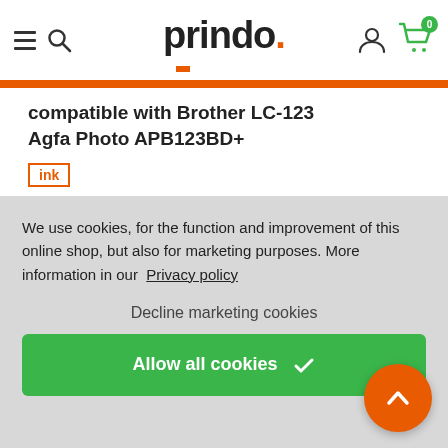prindo.
compatible with Brother LC-123
Agfa Photo APB123BD+
ink
We use cookies, for the function and improvement of this online shop, but also for marketing purposes. More information in our  Privacy policy
Decline marketing cookies
Allow all cookies